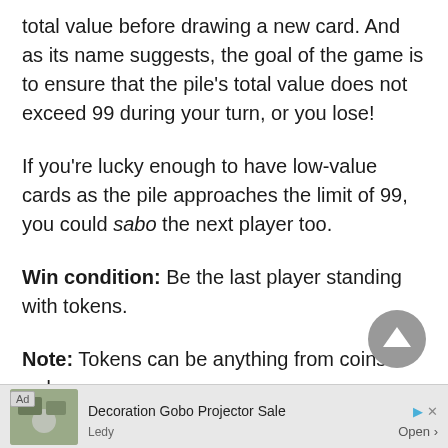total value before drawing a new card. And as its name suggests, the goal of the game is to ensure that the pile's total value does not exceed 99 during your turn, or you lose!
If you're lucky enough to have low-value cards as the pile approaches the limit of 99, you could sabo the next player too.
Win condition: Be the last player standing with tokens.
Note: Tokens can be anything from coins to red